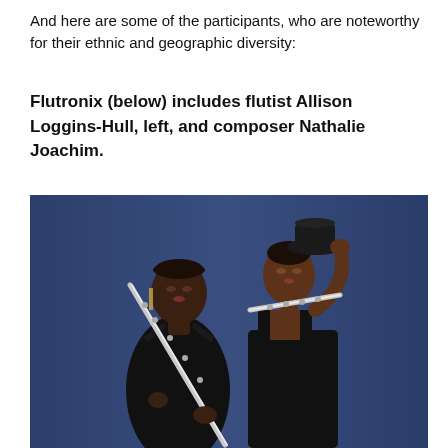And here are some of the participants, who are noteworthy for their ethnic and geographic diversity:
Flutronix (below) includes flutist Allison Loggins-Hull, left, and composer Nathalie Joachim.
[Figure (photo): Two women posing against a dark blue background, both dressed in black. The woman on the left holds a silver flute diagonally across her body and wears a sleeveless black dress with dangling earrings. The woman on the right rests a silver flute on her shoulder and holds a black cowboy hat with her right hand, wearing black overalls.]